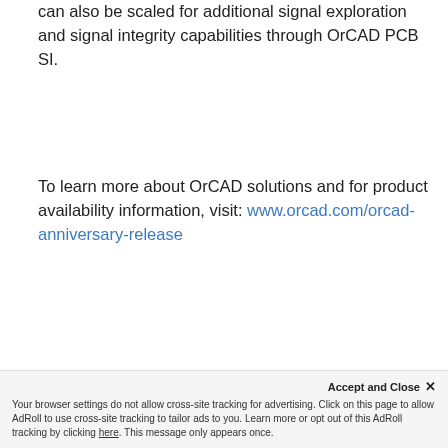can also be scaled for additional signal exploration and signal integrity capabilities through OrCAD PCB SI.
To learn more about OrCAD solutions and for product availability information, visit: www.orcad.com/orcad-anniversary-release
30th Anniversary of OrCAD
Accept and Close ✕ Your browser settings do not allow cross-site tracking for advertising. Click on this page to allow AdRoll to use cross-site tracking to tailor ads to you. Learn more or opt out of this AdRoll tracking by clicking here. This message only appears once.